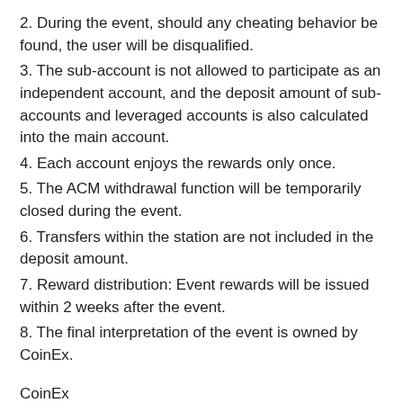2. During the event, should any cheating behavior be found, the user will be disqualified.
3. The sub-account is not allowed to participate as an independent account, and the deposit amount of sub-accounts and leveraged accounts is also calculated into the main account.
4. Each account enjoys the rewards only once.
5. The ACM withdrawal function will be temporarily closed during the event.
6. Transfers within the station are not included in the deposit amount.
7. Reward distribution: Event rewards will be issued within 2 weeks after the event.
8. The final interpretation of the event is owned by CoinEx.
CoinEx
Nov 15, 2019
Follow us Facebook | Twitter | Reddit